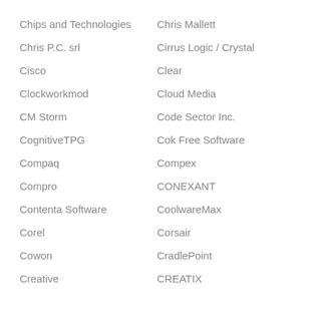Chips and Technologies
Chris Mallett
Chris P.C. srl
Cirrus Logic / Crystal
Cisco
Clear
Clockworkmod
Cloud Media
CM Storm
Code Sector Inc.
CognitiveTPG
Cok Free Software
Compaq
Compex
Compro
CONEXANT
Contenta Software
CoolwareMax
Corel
Corsair
Cowon
CradlePoint
Creative
CREATIX